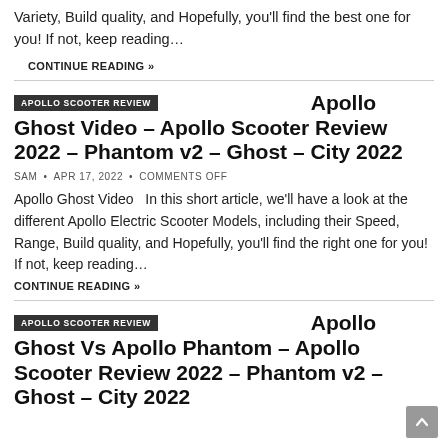Variety, Build quality, and Hopefully, you'll find the best one for you! If not, keep reading…
CONTINUE READING »
Apollo Ghost Video – Apollo Scooter Review 2022 – Phantom v2 – Ghost – City 2022
SAM • APR 17, 2022 • COMMENTS OFF
Apollo Ghost Video   In this short article, we'll have a look at the different Apollo Electric Scooter Models, including their Speed, Range, Build quality, and Hopefully, you'll find the right one for you! If not, keep reading…
CONTINUE READING »
Apollo Ghost Vs Apollo Phantom – Apollo Scooter Review 2022 – Phantom v2 – Ghost – City 2022